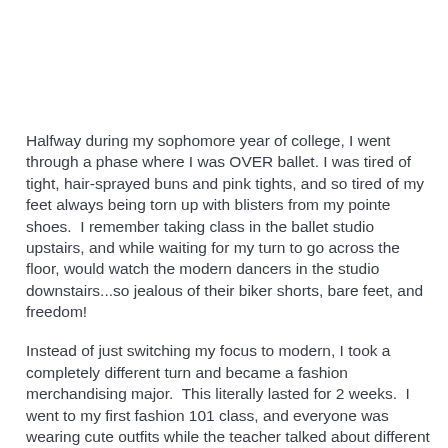Halfway during my sophomore year of college, I went through a phase where I was OVER ballet. I was tired of tight, hair-sprayed buns and pink tights, and so tired of my feet always being torn up with blisters from my pointe shoes.  I remember taking class in the ballet studio upstairs, and while waiting for my turn to go across the floor, would watch the modern dancers in the studio downstairs...so jealous of their biker shorts, bare feet, and freedom!
Instead of just switching my focus to modern, I took a completely different turn and became a fashion merchandising major.  This literally lasted for 2 weeks.  I went to my first fashion 101 class, and everyone was wearing cute outfits while the teacher talked about different kinds of thread.  I almost threw myself out the window.....  I needed to MOVE! ^the picture makes sense now, right?! :) (And I needed to wear sweatpants over a leotard on campus like you're